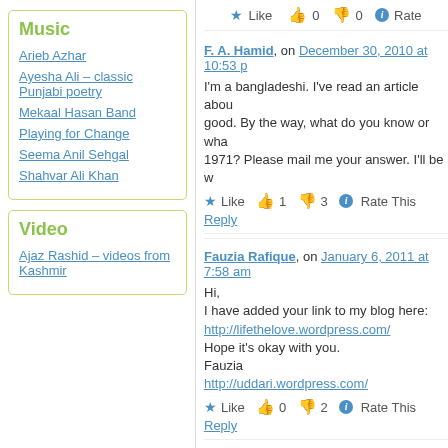Music
Arieb Azhar
Ayesha Ali – classic Punjabi poetry
Mekaal Hasan Band
Playing for Change
Seema Anil Sehgal
Shahvar Ali Khan
Video
Ajaz Rashid – videos from Kashmir
★ Like  👍 0  👎 0  ℹ Rate
F. A. Hamid, on December 30, 2010 at 10:53 p...
I'm a bangladeshi. I've read an article about good. By the way, what do you know or wha 1971? Please mail me your answer. I'll be w
★ Like  👍 1  👎 3  ℹ Rate This
Reply
Fauzia Rafique, on January 6, 2011 at 7:58 am
Hi,
I have added your link to my blog here:
http://lifethelove.wordpress.com/
Hope it's okay with you.
Fauzia
http://uddari.wordpress.com/
★ Like  👍 0  👎 2  ℹ Rate This
Reply